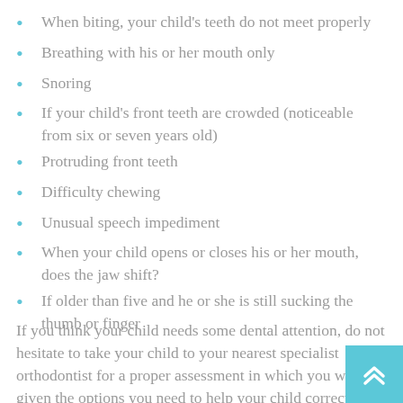When biting, your child's teeth do not meet properly
Breathing with his or her mouth only
Snoring
If your child's front teeth are crowded (noticeable from six or seven years old)
Protruding front teeth
Difficulty chewing
Unusual speech impediment
When your child opens or closes his or her mouth, does the jaw shift?
If older than five and he or she is still sucking the thumb or finger
If you think your child needs some dental attention, do not hesitate to take your child to your nearest specialist orthodontist for a proper assessment in which you will be given the options you need to help your child correct any